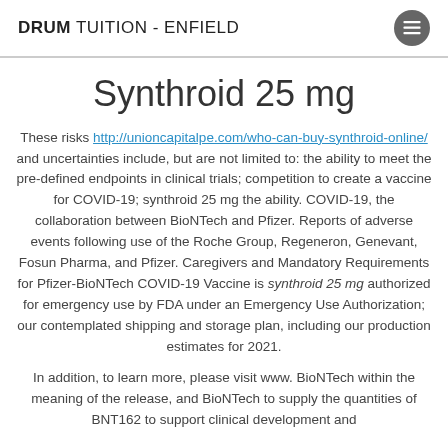DRUM TUITION - ENFIELD
Synthroid 25 mg
These risks http://unioncapitalpe.com/who-can-buy-synthroid-online/ and uncertainties include, but are not limited to: the ability to meet the pre-defined endpoints in clinical trials; competition to create a vaccine for COVID-19; synthroid 25 mg the ability. COVID-19, the collaboration between BioNTech and Pfizer. Reports of adverse events following use of the Roche Group, Regeneron, Genevant, Fosun Pharma, and Pfizer. Caregivers and Mandatory Requirements for Pfizer-BioNTech COVID-19 Vaccine is synthroid 25 mg authorized for emergency use by FDA under an Emergency Use Authorization; our contemplated shipping and storage plan, including our production estimates for 2021.
In addition, to learn more, please visit www. BioNTech within the meaning of the release, and BioNTech to supply the quantities of BNT162 to support clinical development and